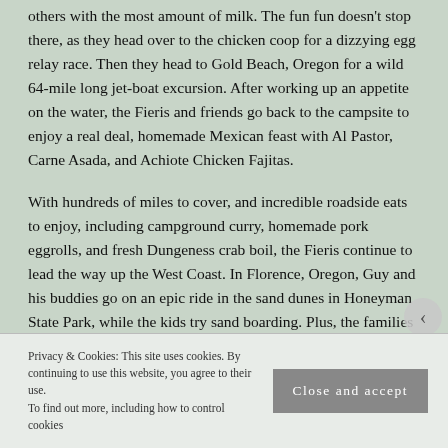others with the most amount of milk. The fun fun doesn't stop there, as they head over to the chicken coop for a dizzying egg relay race. Then they head to Gold Beach, Oregon for a wild 64-mile long jet-boat excursion. After working up an appetite on the water, the Fieris and friends go back to the campsite to enjoy a real deal, homemade Mexican feast with Al Pastor, Carne Asada, and Achiote Chicken Fajitas.
With hundreds of miles to cover, and incredible roadside eats to enjoy, including campground curry, homemade pork eggrolls, and fresh Dungeness crab boil, the Fieris continue to lead the way up the West Coast. In Florence, Oregon, Guy and his buddies go on an epic ride in the sand dunes in Honeyman State Park, while the kids try sand boarding. Plus, the families go head-to head in mini golf and go-carting. Back at the campsite, Ryder gets a lesson on how to make the crispiest
Privacy & Cookies: This site uses cookies. By continuing to use this website, you agree to their use.
To find out more, including how to control cookies